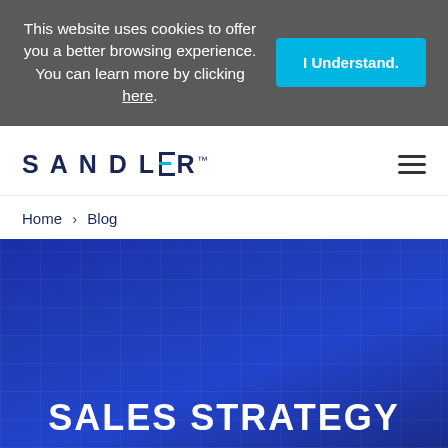This website uses cookies to offer you a better browsing experience. You can learn more by clicking here.
[Figure (screenshot): SANDLER logo with trademark symbol and hamburger menu icon]
Home > Blog
[Figure (photo): Dark blue hero banner with subtle grid lines in background]
SALES STRATEGY